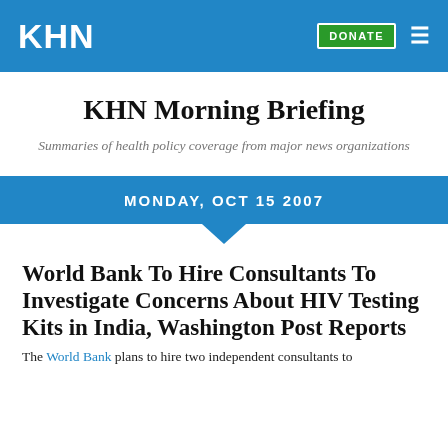KHN | DONATE
KHN Morning Briefing
Summaries of health policy coverage from major news organizations
MONDAY, OCT 15 2007
World Bank To Hire Consultants To Investigate Concerns About HIV Testing Kits in India, Washington Post Reports
The World Bank plans to hire two independent consultants to